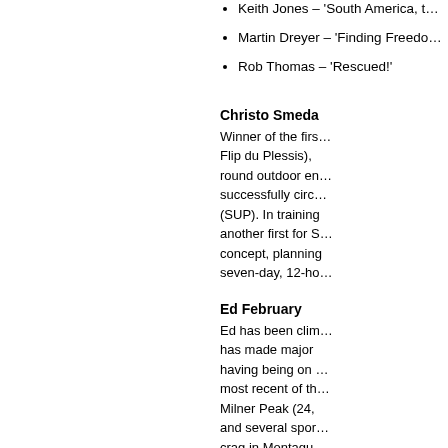Keith Jones – 'South America, t…'
Martin Dreyer – 'Finding Freedo…'
Rob Thomas – 'Rescued!'
Christo Smeda
Winner of the firs… Flip du Plessis), round outdoor en… successfully circ… (SUP). In training another first for S… concept, planning seven-day, 12-ho…
Ed February
Ed has been clim… has made major having being on … most recent of th… Milner Peak (24, and several spor… crag in Montagu Ed enjoys all asp…